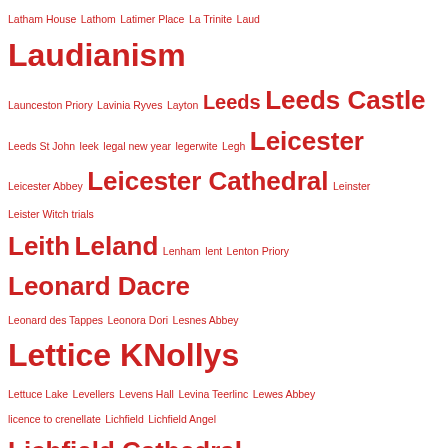Latham House Lathom Latimer Place La Trinite Laud Laudianism Launceston Priory Lavinia Ryves Layton Leeds Leeds Castle Leeds St John leek legal new year legerwite Legh Leicester Leicester Abbey Leicester Cathedral Leinster Leister Witch trials Leith Leland Lenham lent Lenton Priory Leonard Dacre Leonard des Tappes Leonora Dori Lesnes Abbey Lettice KNollys Lettuce Lake Levellers Levens Hall Levina Teerlinc Lewes Abbey licence to crenellate Lichfield Lichfield Angel Lichfield Cathedral Lichfield Gospels Liddel Castle Liddel Strength Liddesdale Liege light Lilleshalle Abbey limming limning Lincoln Lincoln Cathedral Lincolnshire Linlithgow Linstock Castle Linthill lion lion and unicorn Lionel de Welles Lionel Lord Welles Lionel of Antwero Lionel of Antwerp Lionel Plantagenet Lionel Welles lion of England lion of March lists Lithuania Little Dunmow Little Dunmow Priory Little John Owen Liverpool Liverpool Blues livery badge livery badges livery collar Livre de Merveilles du Monde lizard corbel Llandaff Llanfaes Friary Llanfaes Priory Llewelyn ap Gruffudd Llewelyn the Great Lloyd George Lluchmajor Llyulph de Greystoke